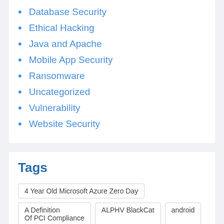Database Security
Ethical Hacking
Java and Apache
Mobile App Security
Ransomware
Uncategorized
Vulnerability
Website Security
Tags
4 Year Old Microsoft Azure Zero Day
A Definition Of PCI Compliance
ALPHV BlackCat
android
app
Android malware that spies on phone